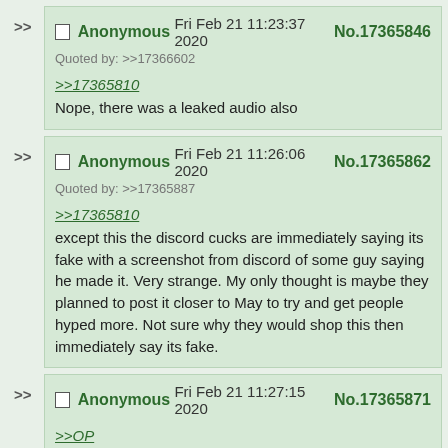Anonymous Fri Feb 21 11:23:37 2020 No.17365846
Quoted by: >>17366602
>>17365810
Nope, there was a leaked audio also
Anonymous Fri Feb 21 11:26:06 2020 No.17365862
Quoted by: >>17365887
>>17365810
except this the discord cucks are immediately saying its fake with a screenshot from discord of some guy saying he made it. Very strange. My only thought is maybe they planned to post it closer to May to try and get people hyped more. Not sure why they would shop this then immediately say its fake.
Anonymous Fri Feb 21 11:27:15 2020 No.17365871
>>OP
It'd be in the USA you fucking tits